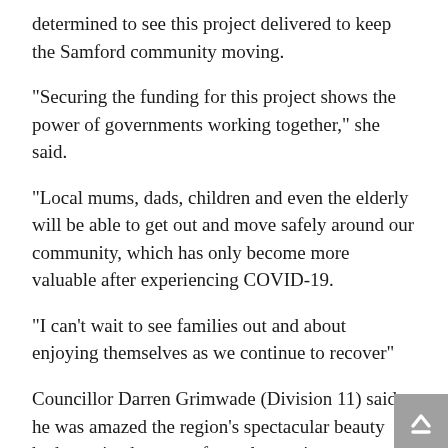determined to see this project delivered to keep the Samford community moving.
“Securing the funding for this project shows the power of governments working together,” she said.
“Local mums, dads, children and even the elderly will be able to get out and move safely around our community, which has only become more valuable after experiencing COVID-19.
“I can’t wait to see families out and about enjoying themselves as we continue to recover”
Councillor Darren Grimwade (Division 11) said he was amazed the region’s spectacular beauty had remained a secret for so long, given Samford’s proximity to Brisbane.
“I’m so proud to be hosting the first ever regional council meeting in Samford in September to showcase this